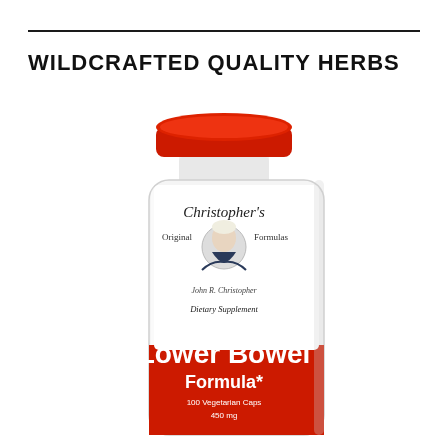WILDCRAFTED QUALITY HERBS
[Figure (photo): Christopher's Original Formulas supplement bottle with red cap. Label reads: Christopher's Original Formulas, Dietary Supplement, Lower Bowel Formula*, 100 Vegetarian Caps, 450 mg. Features portrait of an elderly man in suit.]